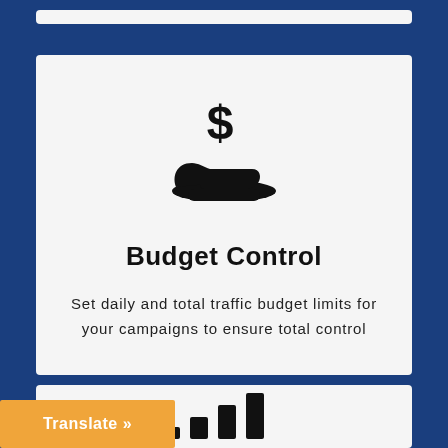[Figure (illustration): Dollar sign above an open hand icon, black silhouette on white background]
Budget Control
Set daily and total traffic budget limits for your campaigns to ensure total control
[Figure (illustration): Bar chart growth icon with four increasing bars, black silhouette on white background]
Translate »